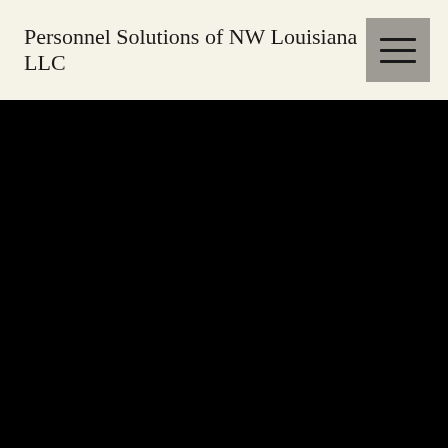Personnel Solutions of NW Louisiana LLC
[Figure (other): Black rectangular section filling the lower portion of the page, appearing to be a hero image or video area that has not loaded]